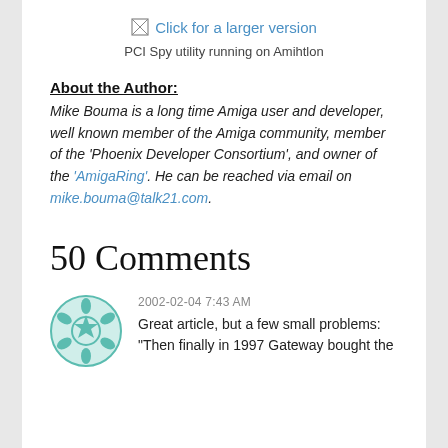[Figure (other): Broken image placeholder with link text 'Click for a larger version']
PCI Spy utility running on Amihtlon
About the Author:
Mike Bouma is a long time Amiga user and developer, well known member of the Amiga community, member of the 'Phoenix Developer Consortium', and owner of the 'AmigaRing'. He can be reached via email on mike.bouma@talk21.com.
50 Comments
2002-02-04 7:43 AM
Great article, but a few small problems: "Then finally in 1997 Gateway bought the